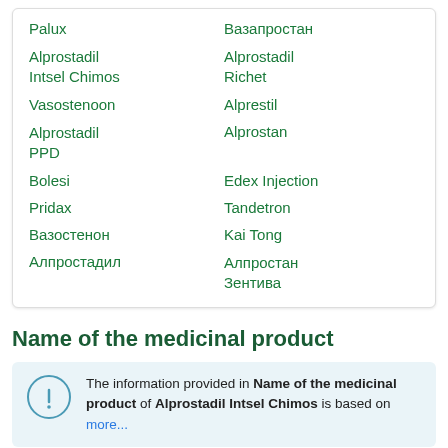| Palux | Вазапростан |
| Alprostadil Intsel Chimos | Alprostadil Richet |
| Vasostenoon | Alprestil |
| Alprostadil PPD | Alprostan |
| Bolesi | Edex Injection |
| Pridax | Tandetron |
| Вазостенон | Kai Tong |
| Алпростадил | Алпростан Зентива |
Name of the medicinal product
The information provided in Name of the medicinal product of Alprostadil Intsel Chimos is based on more...